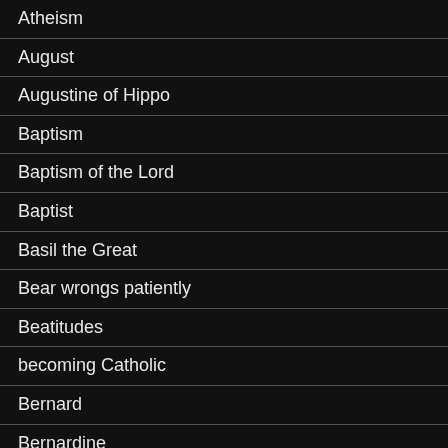Atheism
August
Augustine of Hippo
Baptism
Baptism of the Lord
Baptist
Basil the Great
Bear wrongs patiently
Beatitudes
becoming Catholic
Bernard
Bernardine
Boxer Rebellion